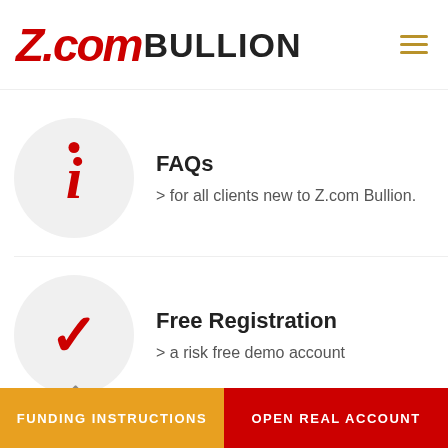Z.com BULLION
[Figure (logo): Z.com BULLION logo with red italic Z.com and bold BULLION text, hamburger menu icon top right]
FAQs
> for all clients new to Z.com Bullion.
Free Registration
> a risk free demo account
FUNDING INSTRUCTIONS | OPEN REAL ACCOUNT